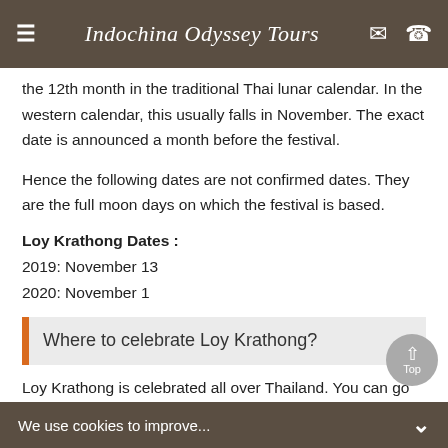Indochina Odyssey Tours
the 12th month in the traditional Thai lunar calendar. In the western calendar, this usually falls in November. The exact date is announced a month before the festival.
Hence the following dates are not confirmed dates. They are the full moon days on which the festival is based.
Loy Krathong Dates :
2019: November 13
2020: November 1
Where to celebrate Loy Krathong?
Loy Krathong is celebrated all over Thailand. You can go and enjoy the festival almost everywhere in the country where it has water. However, there are certain places
We use cookies to improve...